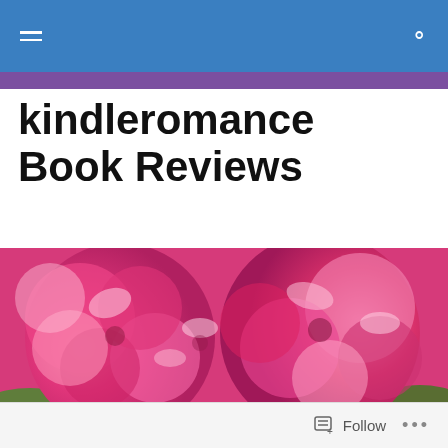kindleromance Book Reviews — navigation bar
kindleromance Book Reviews
[Figure (photo): Close-up photograph of bright pink roses/flowers filling the frame with green leaves visible at edges]
Whistle Blower by Dev Bentham (5 Stars)
Two lonely men discover friendship and love even though
Follow  •••